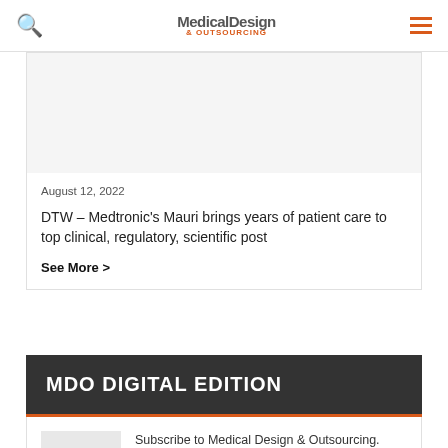Medical Design & Outsourcing
August 12, 2022
DTW – Medtronic's Mauri brings years of patient care to top clinical, regulatory, scientific post
See More >
MDO DIGITAL EDITION
Subscribe to Medical Design & Outsourcing. Bookmark, share and interact with the leading medical design engineering magazine today.